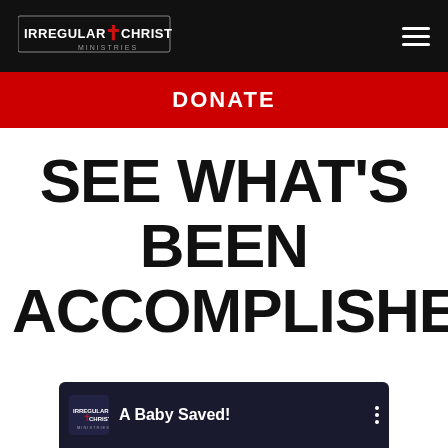Irregular 4 Christ Ministries — navigation header with hamburger menu
DONATE
SEE WHAT'S BEEN ACCOMPLISHED
[Figure (screenshot): Video thumbnail preview showing Irregular 4 Christ logo and title 'A Baby Saved!' with a three-dot menu icon on a dark background]